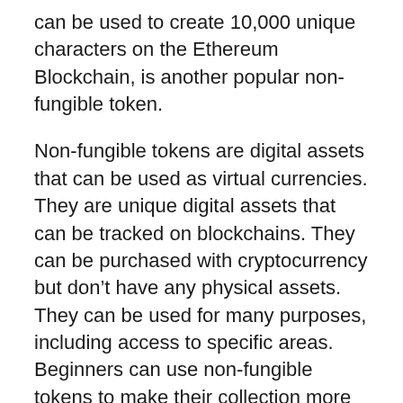can be used to create 10,000 unique characters on the Ethereum Blockchain, is another popular non-fungible token.
Non-fungible tokens are digital assets that can be used as virtual currencies. They are unique digital assets that can be tracked on blockchains. They can be purchased with cryptocurrency but don’t have any physical assets. They can be used for many purposes, including access to specific areas. Beginners can use non-fungible tokens to make their collection more unique. And with new technology, this means that tokens are safe for beginners, too!
Non-fungible tokens, unlike cryptocurrencies, can be tracked on the market. To begin with,